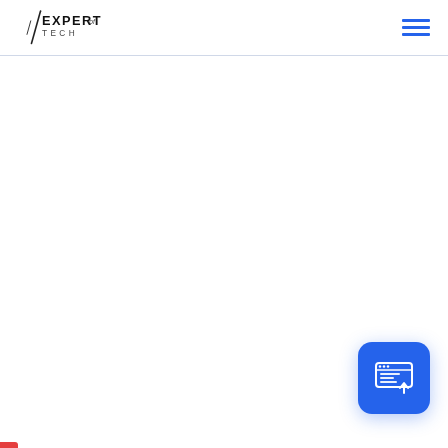Expert of Tech — navigation header with logo and hamburger menu
[Figure (logo): Expert of Tech logo in top left: stylized diagonal slash with EXPERT in bold and 'of TECH' below in smaller text]
[Figure (other): Hamburger menu icon (three horizontal blue lines) in top right corner]
[Figure (other): Blue rounded square widget in bottom right with a white icon depicting a webpage/form with an upload arrow]